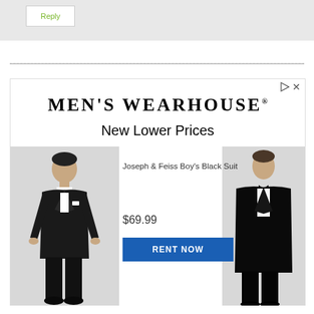[Figure (screenshot): Reply button UI element on grey background]
[Figure (screenshot): Men's Wearhouse advertisement showing 'New Lower Prices', Joseph & Feiss Boy's Black Suit for $69.99 with RENT NOW button, featuring images of boy and man in black suits]